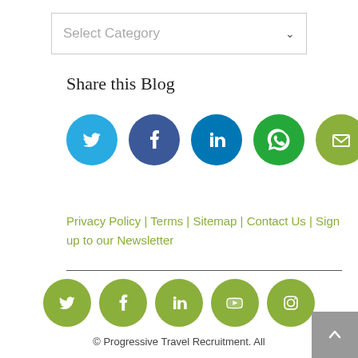[Figure (other): Select Category dropdown widget]
Share this Blog
[Figure (other): Social share icons: Twitter, Facebook, LinkedIn, WhatsApp, Email]
Privacy Policy | Terms | Sitemap | Contact Us | Sign up to our Newsletter
[Figure (other): Footer social media icons: Twitter, Facebook, LinkedIn, YouTube, Instagram (green circles)]
© Progressive Travel Recruitment. All Rights Reserved.